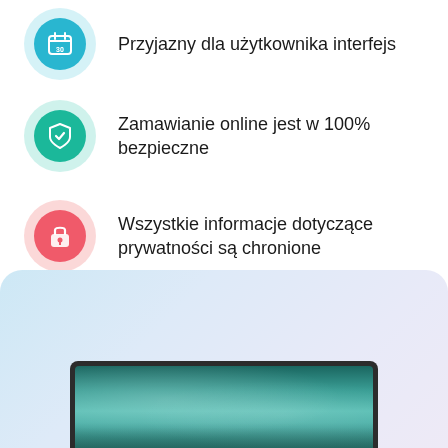Przyjazny dla użytkownika interfejs
Zamawianie online jest w 100% bezpieczne
Wszystkie informacje dotyczące prywatności są chronione
[Figure (screenshot): Screenshot of a website shown on a laptop/monitor screen inside a light blue-purple gradient card at the bottom of the page]